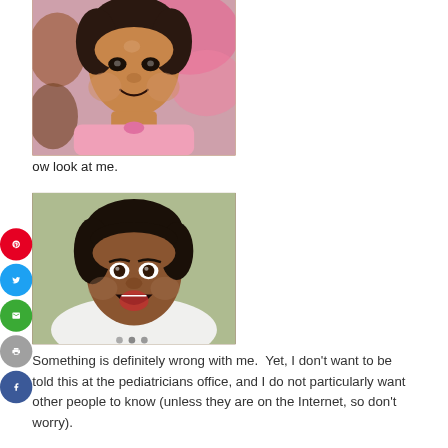[Figure (photo): Photo of a smiling baby girl wearing a pink outfit, sitting in front of a colorful floral background.]
ow look at me.
[Figure (photo): Photo of an adult woman with short dark hair making a surprised/funny face, wearing a white top.]
Something is definitely wrong with me.  Yet, I don’t want to be told this at the pediatricians office, and I do not particularly want other people to know (unless they are on the Internet, so don’t worry).